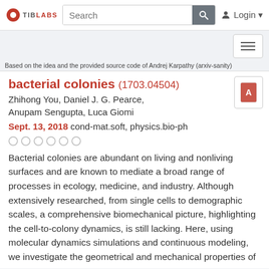TIB LABS  Search  Login
Based on the idea and the provided source code of Andrej Karpathy (arxiv-sanity)
bacterial colonies (1703.04504)
Zhihong You, Daniel J. G. Pearce, Anupam Sengupta, Luca Giomi
Sept. 13, 2018 cond-mat.soft, physics.bio-ph
Bacterial colonies are abundant on living and nonliving surfaces and are known to mediate a broad range of processes in ecology, medicine, and industry. Although extensively researched, from single cells to demographic scales, a comprehensive biomechanical picture, highlighting the cell-to-colony dynamics, is still lacking. Here, using molecular dynamics simulations and continuous modeling, we investigate the geometrical and mechanical properties of